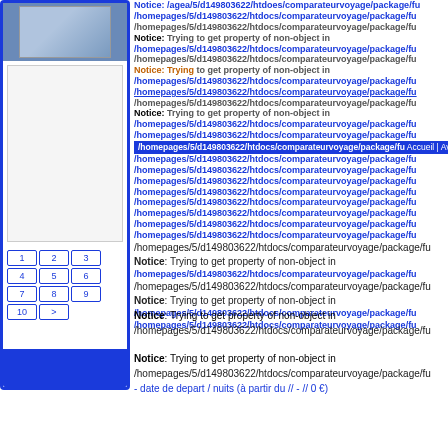[Figure (screenshot): Web page screenshot showing PHP notice errors overlapping with navigation elements. Left sidebar has blue border with image thumbnail, white placeholder box, pagination buttons (1-10, >), and blue footer bar. Right area shows dense overlapping PHP Notice error messages with paths to /homepages/5/d149803622/htdocs/comparateurvoyage/package/fu... and navigation bar with 'Accueil | Avis des utilisateurs'.]
Notice: Trying to get property of non-object in /homepages/5/d149803622/htdocs/comparateurvoyage/package/fu...
Notice: Trying to get property of non-object in /homepages/5/d149803622/htdocs/comparateurvoyage/package/fu...
Notice: Trying to get property of non-object in /homepages/5/d149803622/htdocs/comparateurvoyage/package/fu... - date de depart / nuits (à partir du // - // 0 €)